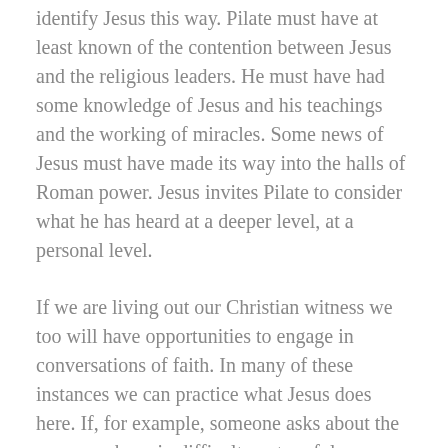identify Jesus this way. Pilate must have at least known of the contention between Jesus and the religious leaders. He must have had some knowledge of Jesus and his teachings and the working of miracles. Some news of Jesus must have made its way into the halls of Roman power. Jesus invites Pilate to consider what he has heard at a deeper level, at a personal level.
If we are living out our Christian witness we too will have opportunities to engage in conversations of faith. In many of these instances we can practice what Jesus does here. If, for example, someone asks about the peace we have in difficult or stressful situations, we can ask when they saw this or how it seemed to make a difference. Or if someone asks how we love or are kind to those that others struggle with, then we could ask them if they've ever felt unloved or we could inquire about their thoughts on why we might love in this way. Sometimes we must answer the question, sharing the power of Jesus Christ. But some of the time we